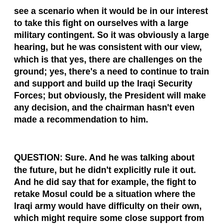see a scenario when it would be in our interest to take this fight on ourselves with a large military contingent. So it was obviously a large hearing, but he was consistent with our view, which is that yes, there are challenges on the ground; yes, there's a need to continue to train and support and build up the Iraqi Security Forces; but obviously, the President will make any decision, and the chairman hasn't even made a recommendation to him.
QUESTION: Sure. And he was talking about the future, but he didn't explicitly rule it out. And he did say that for example, the fight to retake Mosul could be a situation where the Iraqi army would have difficulty on their own, which might require some close support from the U.S. But do you not agree that that is any – that there's any kind of gap there between what you and Josh Earnest have said?
MS. PSAKI: If you look at the full context of his entire